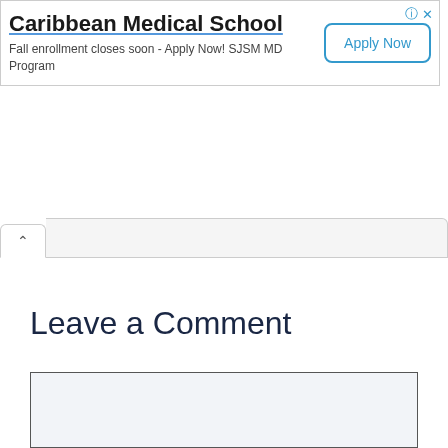[Figure (screenshot): Advertisement banner for Caribbean Medical School with 'Apply Now' button, info and close icons in top right corner]
[Figure (screenshot): Browser tab bar with an up-arrow tab active and a light grey tab area to the right]
Leave a Comment
[Figure (screenshot): Empty comment text area input box with light blue-grey background and dark border]